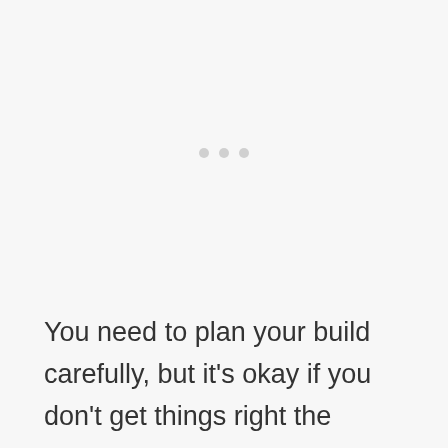[Figure (other): Three light gray dots arranged horizontally, resembling a loading indicator or ellipsis decoration in the upper-middle area of the page.]
You need to plan your build carefully, but it's okay if you don't get things right the